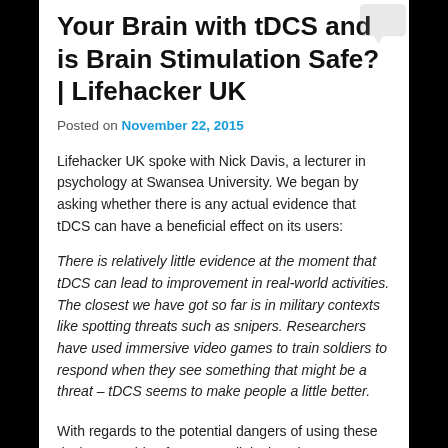Your Brain with tDCS and is Brain Stimulation Safe? | Lifehacker UK
Posted on November 22, 2015
Lifehacker UK spoke with Nick Davis, a lecturer in psychology at Swansea University. We began by asking whether there is any actual evidence that tDCS can have a beneficial effect on its users:
There is relatively little evidence at the moment that tDCS can lead to improvement in real-world activities. The closest we have got so far is in military contexts like spotting threats such as snipers. Researchers have used immersive video games to train soldiers to respond when they see something that might be a threat – tDCS seems to make people a little better.
With regards to the potential dangers of using these devices outside of a proper clinical environment, Davis continued: